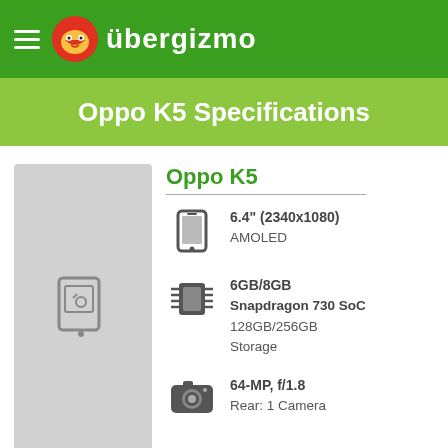übergizmo
Oppo K5 Specifications
[Figure (photo): Placeholder image for Oppo K5 phone with image icon]
Oppo K5
6.4" (2340x1080) AMOLED
6GB/8GB Snapdragon 730 SoC 128GB/256GB Storage
64-MP, f/1.8 Rear: 1 Camera